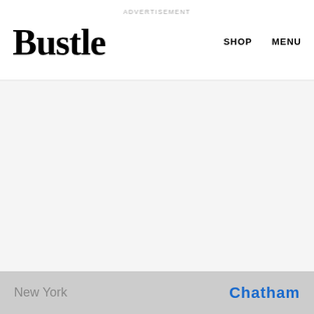ADVERTISEMENT
Bustle
SHOP   MENU
[Figure (other): Large advertisement placeholder area with light gray background]
6. Nene Leakes
[Figure (photo): Partially visible image at bottom of page showing blurred text reading 'New York' on left and 'Chatham' on right]